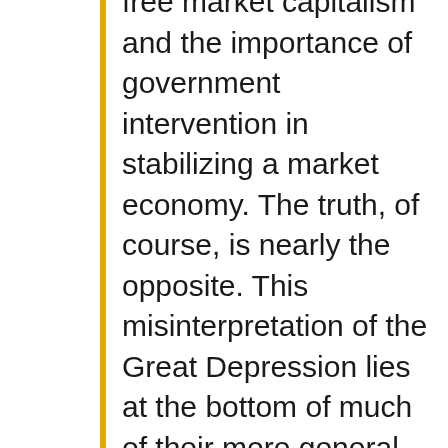free market capitalism and the importance of government intervention in stabilizing a market economy. The truth, of course, is nearly the opposite. This misinterpretation of the Great Depression lies at the bottom of much of their more general belief in the deep flaws of market economies, as we have seen in the way the media and many intellectuals have cheered on the activism of Bush and Obama since 2008. Accepting Hoover's role as the father of the New Deal would challenge the fundamental